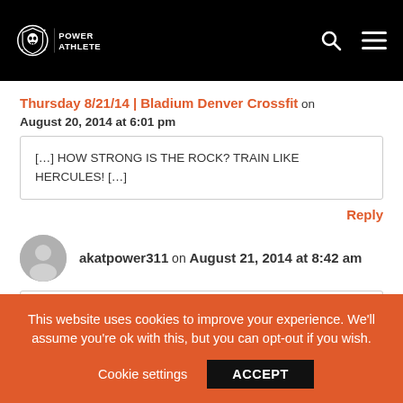Power Athlete logo with search and menu icons
Thursday 8/21/14 | Bladium Denver Crossfit on August 20, 2014 at 6:01 pm
[…] HOW STRONG IS THE ROCK? TRAIN LIKE HERCULES! […]
Reply
akatpower311 on August 21, 2014 at 8:42 am
This website uses cookies to improve your experience. We'll assume you're ok with this, but you can opt-out if you wish. Cookie settings ACCEPT